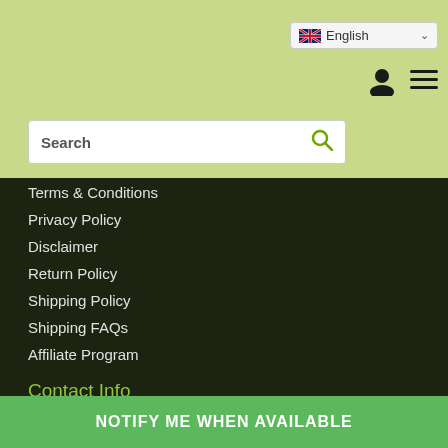[Figure (screenshot): Green header bar with English language selector dropdown, user icon, hamburger menu, and search box]
Terms & Conditions
Privacy Policy
Disclaimer
Return Policy
Shipping Policy
Shipping FAQs
Affiliate Program
Contact Info
Herbs Daily Inc
34972 Newark Blvd, #274,
Newark, CA 94560
USA
support@
NOTIFY ME WHEN AVAILABLE